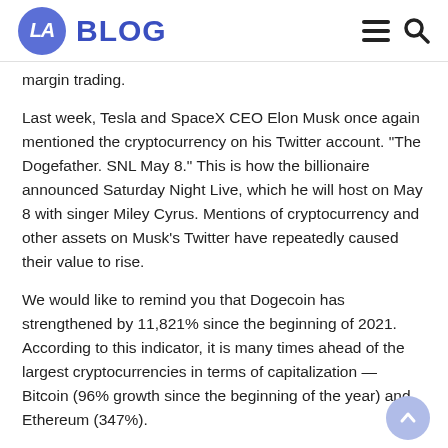LA BLOG
margin trading.
Last week, Tesla and SpaceX CEO Elon Musk once again mentioned the cryptocurrency on his Twitter account. "The Dogefather. SNL May 8." This is how the billionaire announced Saturday Night Live, which he will host on May 8 with singer Miley Cyrus. Mentions of cryptocurrency and other assets on Musk's Twitter have repeatedly caused their value to rise.
We would like to remind you that Dogecoin has strengthened by 11,821% since the beginning of 2021. According to this indicator, it is many times ahead of the largest cryptocurrencies in terms of capitalization — Bitcoin (96% growth since the beginning of the year) and Ethereum (347%).
Growth reasons